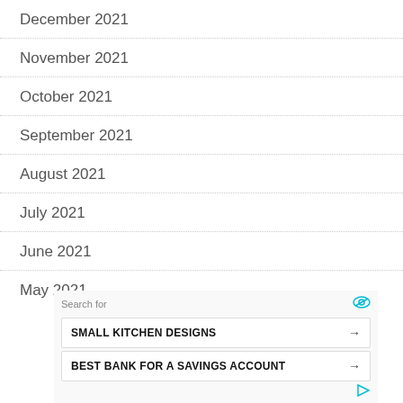December 2021
November 2021
October 2021
September 2021
August 2021
July 2021
June 2021
May 2021
[Figure (other): Ad overlay with search for label and two ad buttons: SMALL KITCHEN DESIGNS and BEST BANK FOR A SAVINGS ACCOUNT]